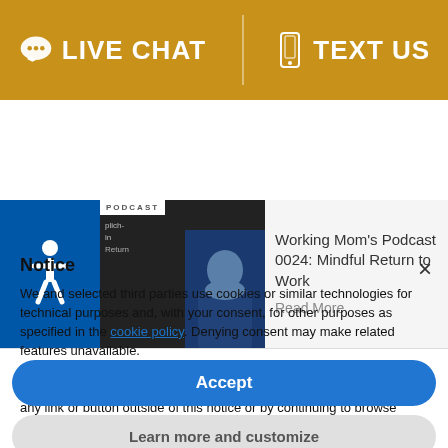[Figure (screenshot): Golden/amber header bar with LIVE CHAT and TEXT US buttons separated by a divider]
[Figure (screenshot): Website content strip showing an accessibility icon, podcast thumbnail with a woman's photo, and text: Working Mom's Podcast 0024: Mindful Return to Work, Read More]
Notice
We and selected third parties use cookies or similar technologies for technical purposes and, with your consent, for other purposes as specified in the cookie policy. Denying consent may make related features unavailable.
You can consent to the use of such technologies by using the “Accept” button, by closing this notice, by scrolling this page, by interacting with any link or button outside of this notice or by continuing to browse otherwise.
Accept
Learn more and customize